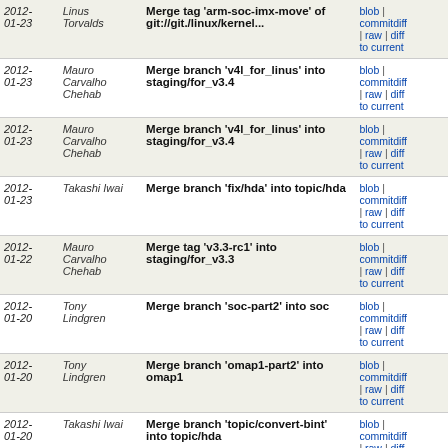| Date | Author | Message | Links |
| --- | --- | --- | --- |
| 2012-01-23 | Linus Torvalds | Merge tag 'arm-soc-imx-move' of git://git./linux/kernel... | blob | commitdiff | raw | diff to current |
| 2012-01-23 | Mauro Carvalho Chehab | Merge branch 'v4l_for_linus' into staging/for_v3.4 | blob | commitdiff | raw | diff to current |
| 2012-01-23 | Mauro Carvalho Chehab | Merge branch 'v4l_for_linus' into staging/for_v3.4 | blob | commitdiff | raw | diff to current |
| 2012-01-23 | Takashi Iwai | Merge branch 'fix/hda' into topic/hda | blob | commitdiff | raw | diff to current |
| 2012-01-22 | Mauro Carvalho Chehab | Merge tag 'v3.3-rc1' into staging/for_v3.3 | blob | commitdiff | raw | diff to current |
| 2012-01-20 | Tony Lindgren | Merge branch 'soc-part2' into soc | blob | commitdiff | raw | diff to current |
| 2012-01-20 | Tony Lindgren | Merge branch 'omap1-part2' into omap1 | blob | commitdiff | raw | diff to current |
| 2012-01-20 | Takashi Iwai | Merge branch 'topic/convert-bint' into topic/hda | blob | commitdiff | raw | diff to current |
| 2012-01-19 | Linus Torvalds | Merge branches 'sched-urgent-for-linus', 'perf-urgent... | blob | commitdiff | raw | diff to current |
| 2012-01-19 | H. Peter Anvin | Merge remote-tracking branch 'linus/master' into x86... | blob | commitdiff | raw | diff to current |